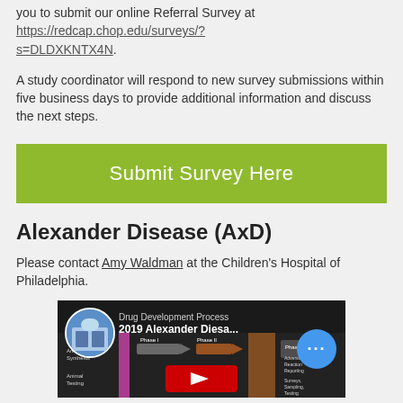you to submit our online Referral Survey at https://redcap.chop.edu/surveys/?s=DLDXKNTX4N.
A study coordinator will respond to new survey submissions within five business days to provide additional information and discuss the next steps.
Submit Survey Here
Alexander Disease (AxD)
Please contact Amy Waldman at the Children's Hospital of Philadelphia.
[Figure (screenshot): Video thumbnail for '2019 Alexander Diesa...' with a diagram showing drug development phases (Animal Synthesis, Animal Testing, Phase I, Phase II, Phase III, Phase IV), a circular avatar image of a building on the left, and a blue circle with three dots on the right.]